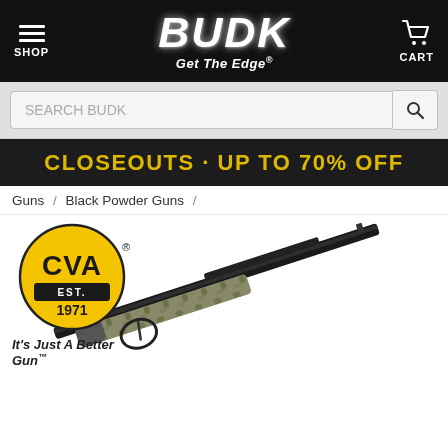[Figure (screenshot): BUDK website header with hamburger menu, BUDK logo and 'Get The Edge' tagline, and shopping cart icon]
[Figure (screenshot): Search bar with 'SEARCH BUDK' placeholder text and search icon button]
CLOSEOUTS · UP TO 70% OFF
Guns / Black Powder Guns /
[Figure (logo): CVA logo - yellow circle with 'CVA EST. 1971' text and 'It's Just A Better Gun' tagline]
[Figure (photo): Black powder rifle with camouflage stock, angled diagonally across white background]